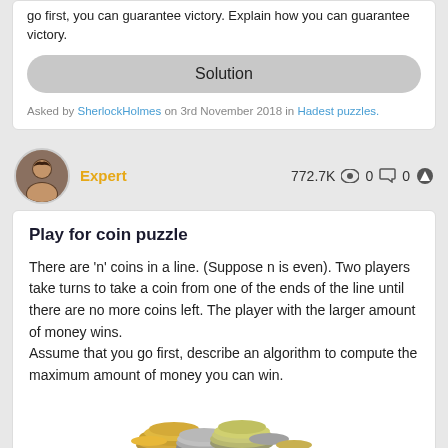go first, you can guarantee victory. Explain how you can guarantee victory.
Solution
Asked by SherlockHolmes on 3rd November 2018 in Hadest puzzles.
Expert   772.7K  0  0
Play for coin puzzle
There are 'n' coins in a line. (Suppose n is even). Two players take turns to take a coin from one of the ends of the line until there are no more coins left. The player with the larger amount of money wins.
Assume that you go first, describe an algorithm to compute the maximum amount of money you can win.
[Figure (photo): A pile of various coins including gold and silver euro coins]